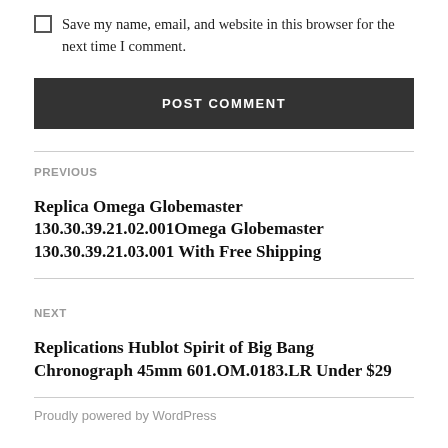Save my name, email, and website in this browser for the next time I comment.
POST COMMENT
PREVIOUS
Replica Omega Globemaster 130.30.39.21.02.001Omega Globemaster 130.30.39.21.03.001 With Free Shipping
NEXT
Replications Hublot Spirit of Big Bang Chronograph 45mm 601.OM.0183.LR Under $29
Proudly powered by WordPress